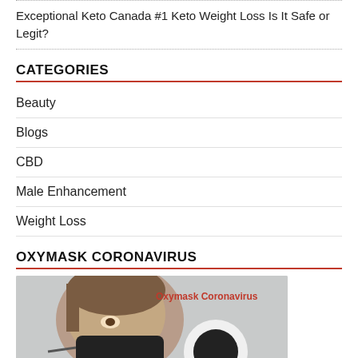Exceptional Keto Canada #1 Keto Weight Loss Is It Safe or Legit?
CATEGORIES
Beauty
Blogs
CBD
Male Enhancement
Weight Loss
OXYMASK CORONAVIRUS
[Figure (photo): Woman wearing a black face mask (Oxymask Coronavirus). Text overlay reads 'Oxymask Coronavirus' in red.]